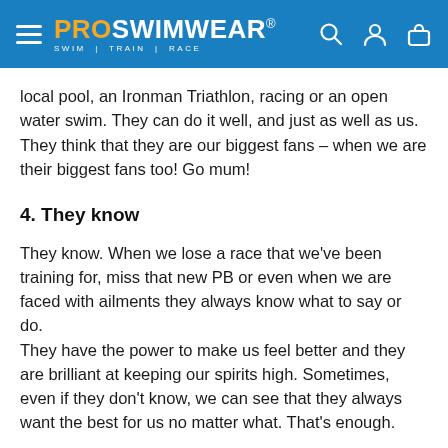PROSWIMWEAR® SWIM | TRAIN | RACE
local pool, an Ironman Triathlon, racing or an open water swim. They can do it well, and just as well as us. They think that they are our biggest fans – when we are their biggest fans too! Go mum!
4. They know
They know. When we lose a race that we've been training for, miss that new PB or even when we are faced with ailments they always know what to say or do.
They have the power to make us feel better and they are brilliant at keeping our spirits high. Sometimes, even if they don't know, we can see that they always want the best for us no matter what. That's enough.